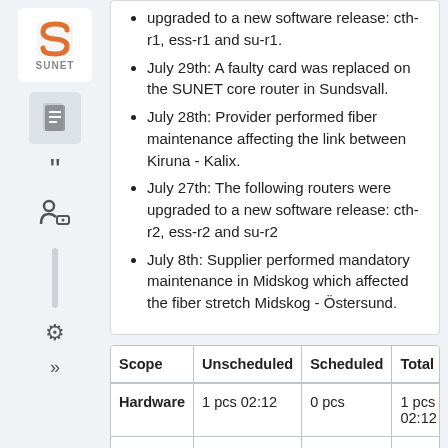upgraded to a new software release: cth-r1, ess-r1 and su-r1.
July 29th: A faulty card was replaced on the SUNET core router in Sundsvall.
July 28th: Provider performed fiber maintenance affecting the link between Kiruna - Kalix.
July 27th: The following routers were upgraded to a new software release: cth-r2, ess-r2 and su-r2
July 8th: Supplier performed mandatory maintenance in Midskog which affected the fiber stretch Midskog - Östersund.
| Scope | Unscheduled | Scheduled | Total |
| --- | --- | --- | --- |
| Hardware | 1 pcs 02:12 | 0 pcs | 1 pcs 02:12 |
| Link | 3 pcs 2d 19:03 | 2 pcs 08:27 | 5 pcs 3d 03:30 |